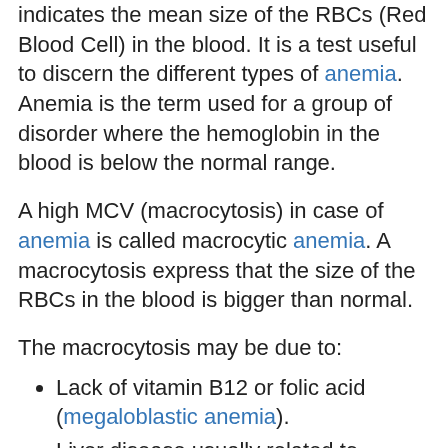indicates the mean size of the RBCs (Red Blood Cell) in the blood. It is a test useful to discern the different types of anemia. Anemia is the term used for a group of disorder where the hemoglobin in the blood is below the normal range.
A high MCV (macrocytosis) in case of anemia is called macrocytic anemia. A macrocytosis express that the size of the RBCs in the blood is bigger than normal.
The macrocytosis may be due to:
Lack of vitamin B12 or folic acid (megaloblastic anemia).
Liver disease usually related to